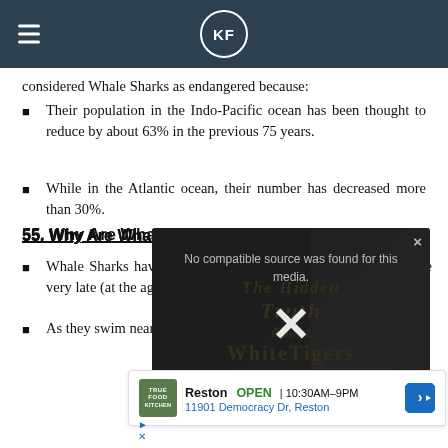KF (logo navigation bar)
considered Whale Sharks as endangered because:
Their population in the Indo-Pacific ocean has been thought to reduce by about 63% in the previous 75 years.
While in the Atlantic ocean, their number has decreased more than 30%.
55. Why Are Whale Sharks Endangered
Whale Sharks have a long lifespan and become sexually mature very late (at the age of 30 years).
As they swim near the surface and swim at low speed they are often at the mercy...
[Figure (other): Video media error overlay showing 'No compatible source was found for this media' message with X close button, overlaid on a book cover titled 'The Hidden Truth About White Tigers']
[Figure (other): Advertisement banner for True Food Kitchen Reston location, open 10:30AM-9PM, 11901 Democracy Dr, Reston]